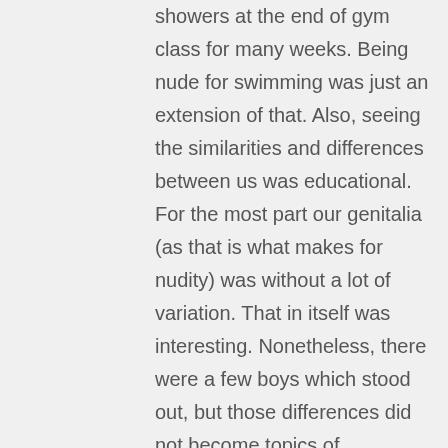showers at the end of gym class for many weeks. Being nude for swimming was just an extension of that. Also, seeing the similarities and differences between us was educational. For the most part our genitalia (as that is what makes for nudity) was without a lot of variation. That in itself was interesting. Nonetheless, there were a few boys which stood out, but those differences did not become topics of conversation.

Finally, during the week or two